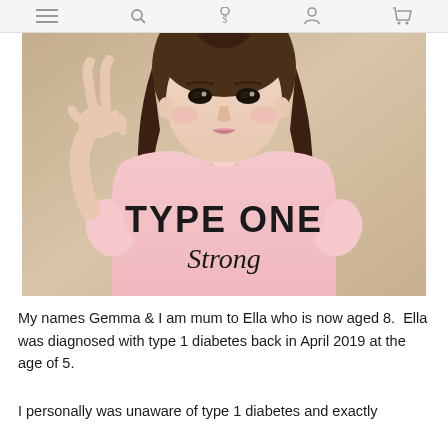≡  🔍  $  👤  🛒
[Figure (photo): A young girl approximately 8 years old wearing a pink t-shirt that reads 'TYPE ONE Strong', making a peace sign with her hand and looking at the camera. Background is a beige/cream wall.]
My names Gemma & I am mum to Ella who is now aged 8.  Ella was diagnosed with type 1 diabetes back in April 2019 at the age of 5.
I personally was unaware of type 1 diabetes and exactly